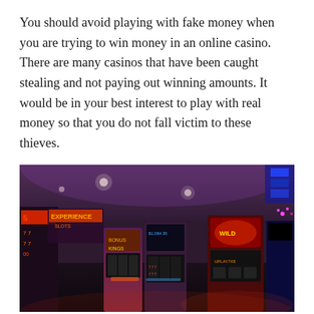You should avoid playing with fake money when you are trying to win money in an online casino. There are many casinos that have been caught stealing and not paying out winning amounts. It would be in your best interest to play with real money so that you do not fall victim to these thieves.
[Figure (photo): Interior of a casino showing rows of colorful slot machines with neon lights in purple, red, blue and orange hues. The ceiling has recessed lighting. Visible slot machines include displays showing numbers and symbols.]